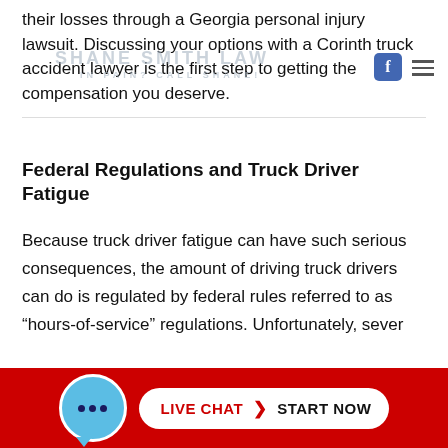their losses through a Georgia personal injury lawsuit. Discussing your options with a Corinth truck accident lawyer is the first step to getting the compensation you deserve.
Federal Regulations and Truck Driver Fatigue
Because truck driver fatigue can have such serious consequences, the amount of driving truck drivers can do is regulated by federal rules referred to as “hours-of-service” regulations. Unfortunately, sever...